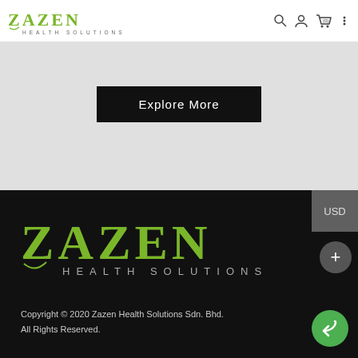[Figure (logo): Zazen Health Solutions logo with green stylized text and subtitle]
[Figure (screenshot): Website header with search, user, cart icons]
[Figure (screenshot): Gray hero section with black Explore More button]
[Figure (logo): Large Zazen Health Solutions logo in footer, green text with gray subtitle]
Copyright © 2020 Zazen Health Solutions Sdn. Bhd.
All Rights Reserved.